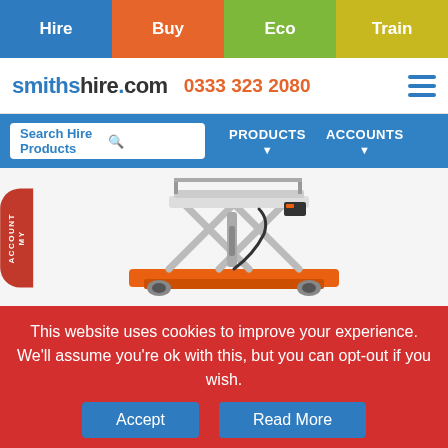Hire | Buy | Eco | Train
[Figure (logo): smithshire.com logo with phone number 0333 323 2080 and hamburger menu icon]
[Figure (screenshot): Search Hire Products search box with PRODUCTS and ACCOUNTS dropdown navigation buttons on blue background]
[Figure (photo): Snorkel S3010P Push Around Scissor Lift - orange scissor lift machine with MY ACCOUNT badge on left side]
Snorkel S3010P Push Around Scissor Lift (WH 5m)
This website uses cookies to improve your experience. We'll assume you're ok with this, but you can opt-out if you wish.